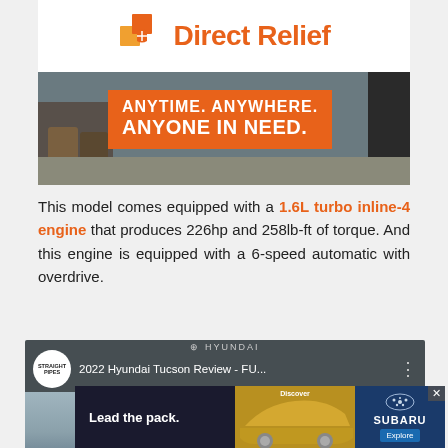[Figure (photo): Direct Relief advertisement banner with orange logo and 'ANYTIME. ANYWHERE. ANYONE IN NEED.' text on orange background over photo of people's feet]
This model comes equipped with a 1.6L turbo inline-4 engine that produces 226hp and 258lb-ft of torque. And this engine is equipped with a 6-speed automatic with overdrive.
[Figure (screenshot): YouTube video thumbnail showing '2022 Hyundai Tucson Review - FU...' from Straight Pipes channel, with Hyundai Tucson car image]
[Figure (photo): Subaru advertisement at bottom: 'Lead the pack.' with yellow Subaru crossover car and Subaru logo with Explore button]